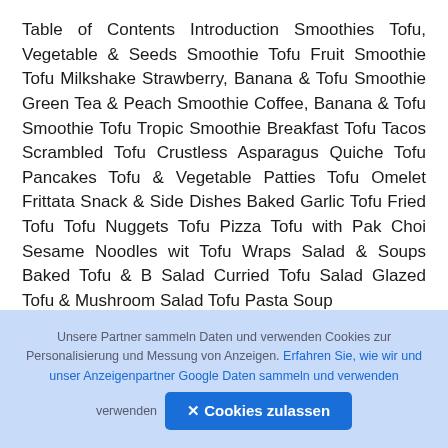Table of Contents Introduction Smoothies Tofu, Vegetable & Seeds Smoothie Tofu Fruit Smoothie Tofu Milkshake Strawberry, Banana & Tofu Smoothie Green Tea & Peach Smoothie Coffee, Banana & Tofu Smoothie Tofu Tropic Smoothie Breakfast Tofu Tacos Scrambled Tofu Crustless Asparagus Quiche Tofu Pancakes Tofu & Vegetable Patties Tofu Omelet Frittata Snack & Side Dishes Baked Garlic Tofu Fried Tofu Tofu Nuggets Tofu Pizza Tofu with Pak Choi Sesame Noodles wit Tofu Wraps Salad & Soups Baked Tofu & B Salad Curried Tofu Salad Glazed Tofu & Mushroom Salad Tofu Pasta Soup
Unsere Partner sammeln Daten und verwenden Cookies zur Personalisierung und Messung von Anzeigen. Erfahren Sie, wie wir und unser Anzeigenpartner Google Daten sammeln und verwenden